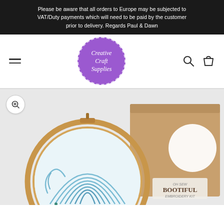Please be aware that all orders to Europe may be subjected to VAT/Duty payments which will need to be paid by the customer prior to delivery. Regards Paul & Dawn
[Figure (logo): Creative Craft Supplies logo — white italic script text on a purple circle with dashed white border]
[Figure (photo): Product photo showing an embroidery hoop with a wave design in blue thread and a kraft cardboard box labelled 'Bootiful Embroidery Kit' with a circular window cutout]